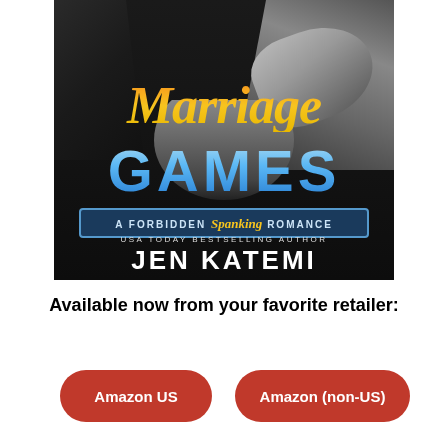[Figure (illustration): Book cover for 'Marriage Games: A Forbidden Spanking Romance' by Jen Katemi. Black and white photo of two figures — a man in a tuxedo and a woman with blonde hair — with colorful title text. 'Marriage' in orange-gold italic script, 'GAMES' in bold blue gradient letters. Subtitle banner reads 'A Forbidden Spanking Romance'. Author byline: 'USA TODAY BESTSELLING AUTHOR JEN KATEMI'.]
Available now from your favorite retailer:
Amazon US
Amazon (non-US)